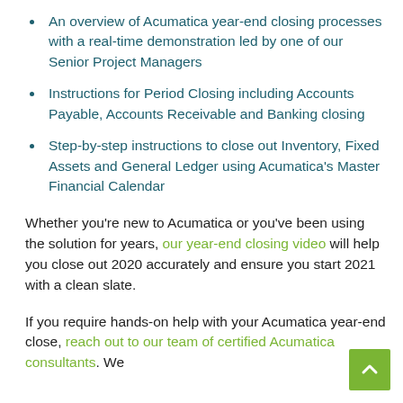An overview of Acumatica year-end closing processes with a real-time demonstration led by one of our Senior Project Managers
Instructions for Period Closing including Accounts Payable, Accounts Receivable and Banking closing
Step-by-step instructions to close out Inventory, Fixed Assets and General Ledger using Acumatica’s Master Financial Calendar
Whether you’re new to Acumatica or you’ve been using the solution for years, our year-end closing video will help you close out 2020 accurately and ensure you start 2021 with a clean slate.
If you require hands-on help with your Acumatica year-end close, reach out to our team of certified Acumatica consultants. We